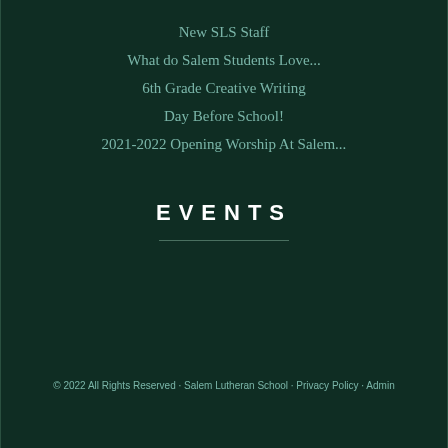New SLS Staff
What do Salem Students Love...
6th Grade Creative Writing
Day Before School!
2021-2022 Opening Worship At Salem...
EVENTS
© 2022 All Rights Reserved · Salem Lutheran School · Privacy Policy · Admin